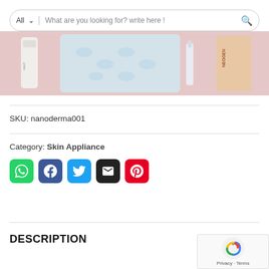[Figure (screenshot): Search bar at top with 'All' dropdown and placeholder text 'What are you looking for? write here !' with a magnifier icon]
[Figure (photo): Product photo showing skincare items including a white spray bottle, a textured sheet mask, a serum vial, and a NEOGEN product tube laid on a pink background]
SKU: nanoderma001
Category: Skin Appliance
[Figure (infographic): Row of five social sharing buttons: WhatsApp (green), Facebook (dark blue), Twitter (light blue), Email (black), Pinterest (red)]
DESCRIPTION
[Figure (other): reCAPTCHA widget showing Google logo and 'Privacy - Terms' text]